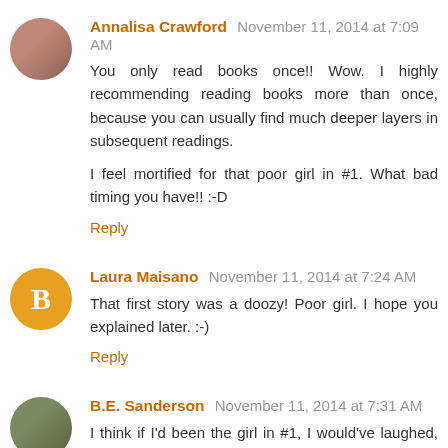Annalisa Crawford November 11, 2014 at 7:09 AM
You only read books once!! Wow. I highly recommending reading books more than once, because you can usually find much deeper layers in subsequent readings.

I feel mortified for that poor girl in #1. What bad timing you have!! :-D
Reply
Laura Maisano November 11, 2014 at 7:24 AM
That first story was a doozy! Poor girl. I hope you explained later. :-)
Reply
B.E. Sanderson November 11, 2014 at 7:31 AM
I think if I'd been the girl in #1, I would've laughed, thought you had a sick sense of humor, and we probably would've